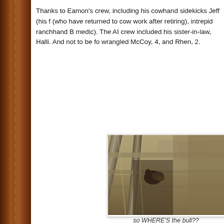Thanks to Eamon's crew, including his cowhand sidekicks Jeff (his f... (who have returned to cow work after retiring), intrepid ranchhand B... medic). The AI crew included his sister-in-law, Halli. And not to be fo... wrangled McCoy, 4, and Rhen, 2.
[Figure (photo): A photograph showing a cattle chute/squeeze chute from above, with metal bars and rails visible, and a cow's head visible in the chute. The image has a warm, slightly vintage quality.]
so WHERE'S the bull??